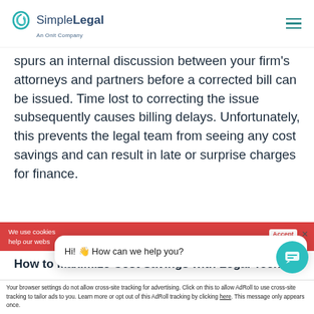SimpleLegal — An Onit Company
spurs an internal discussion between your firm's attorneys and partners before a corrected bill can be issued. Time lost to correcting the issue subsequently causes billing delays. Unfortunately, this prevents the legal team from seeing any cost savings and can result in late or surprise charges for finance.
How to Maximize Cost Savings with Legal Tech
[Figure (screenshot): Chat popup with text: Hi! 👋 How can we help you? with a close button]
We use cookies help our webs...
Accept
Your browser settings do not allow cross-site tracking for advertising. Click on this to allow AdRoll to use cross-site tracking to tailor ads to you. Learn more or opt out of this AdRoll tracking by clicking here. This message only appears once.